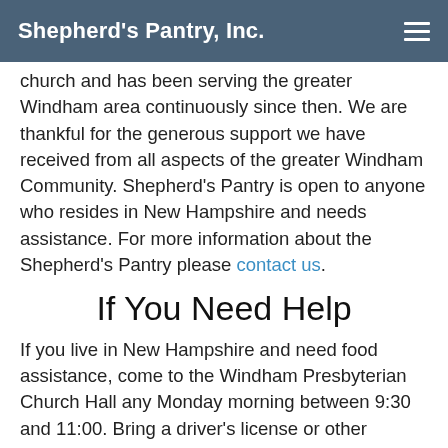Shepherd's Pantry, Inc.
church and has been serving the greater Windham area continuously since then. We are thankful for the generous support we have received from all aspects of the greater Windham Community. Shepherd's Pantry is open to anyone who resides in New Hampshire and needs assistance. For more information about the Shepherd's Pantry please contact us.
If You Need Help
If you live in New Hampshire and need food assistance, come to the Windham Presbyterian Church Hall any Monday morning between 9:30 and 11:00. Bring a driver's license or other identification showing your present address. Once registered, you will receive a bag of groceries plus meat, eggs, milk, fresh vegetables, bread, pastry and personal/health items. The quantity of food your receive will be based on the number of people in your household. You may return